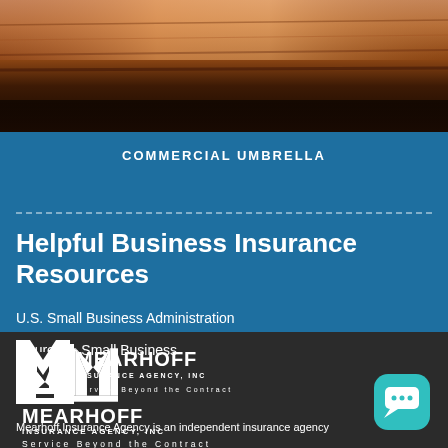[Figure (photo): Overhead photo of a wooden desk surface with warm brown tones, darkening toward the bottom]
COMMERCIAL UMBRELLA
Helpful Business Insurance Resources
U.S. Small Business Administration
Insure U - Small Business
[Figure (logo): Mearhoff Insurance Agency, Inc logo with stylized M and tagline Service Beyond the Contract]
[Figure (other): Teal chat/messaging icon button]
Mearhoff Insurance Agency is an independent insurance agency